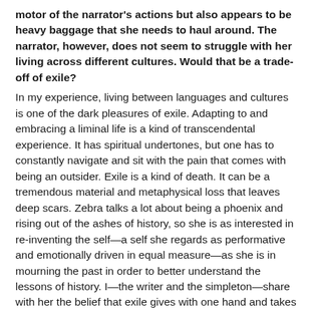motor of the narrator's actions but also appears to be heavy baggage that she needs to haul around. The narrator, however, does not seem to struggle with her living across different cultures. Would that be a trade-off of exile?
In my experience, living between languages and cultures is one of the dark pleasures of exile. Adapting to and embracing a liminal life is a kind of transcendental experience. It has spiritual undertones, but one has to constantly navigate and sit with the pain that comes with being an outsider. Exile is a kind of death. It can be a tremendous material and metaphysical loss that leaves deep scars. Zebra talks a lot about being a phoenix and rising out of the ashes of history, so she is as interested in re-inventing the self—a self she regards as performative and emotionally driven in equal measure—as she is in mourning the past in order to better understand the lessons of history. I—the writer and the simpleton—share with her the belief that exile gives with one hand and takes with the other. What does it give and take? Languages, relationships, smells, foods, textures, homes, mannerisms, our shoes... the